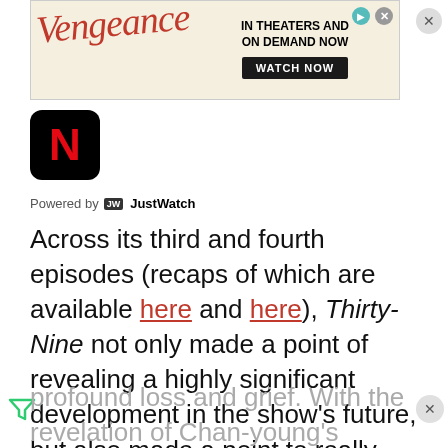[Figure (screenshot): Advertisement banner for 'Vengeance' film — red italic cursive title 'Vengeance', text 'IN THEATERS AND ON DEMAND NOW', dark button 'WATCH NOW', beige background]
[Figure (logo): Netflix app icon — black rounded square with red letter N]
Powered by JustWatch
Across its third and fourth episodes (recaps of which are available here and here), Thirty-Nine not only made a point of revealing a highly significant development in the show's future, but also made a point to really linger on the ramifications of it, immediately morphing the show from one about friendship and romance to one about profound loss and grief. With the revelation of Chan-young's impending demise, we have a truly heart-breaking setup as three best friends begin to learn how to navigate